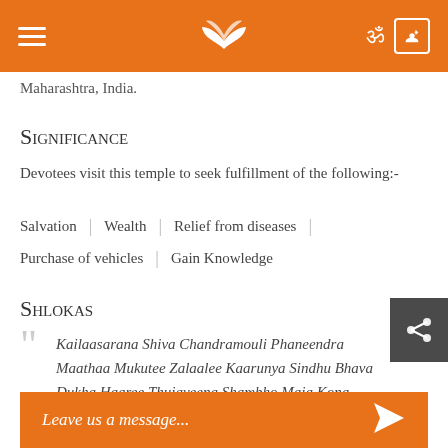Maharashtra, India.
Significance
Devotees visit this temple to seek fulfillment of the following:-
Salvation | Wealth | Relief from diseases |
Purchase of vehicles | Gain Knowledge
Shlokas
Kailaasarana Shiva Chandramouli Phaneendra Maathaa Mukutee Zalaalee Kaarunya Sindhu Bhava Dukha Haaree Thujaveena Shambho Maja Kona
Leave us a message...